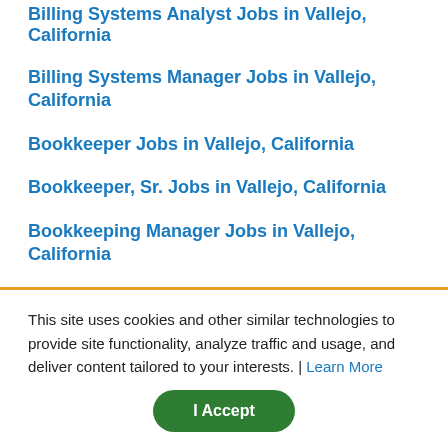Billing Systems Analyst Jobs in Vallejo, California
Billing Systems Manager Jobs in Vallejo, California
Bookkeeper Jobs in Vallejo, California
Bookkeeper, Sr. Jobs in Vallejo, California
Bookkeeping Manager Jobs in Vallejo, California
Branch Review Specialist Jobs in Vallejo, California
Branch Review Team Lead Jobs in Vallejo, California
Budget Analyst Jobs in Vallejo, California
Budget Director Jobs in Vallejo, California
This site uses cookies and other similar technologies to provide site functionality, analyze traffic and usage, and deliver content tailored to your interests. | Learn More
I Accept